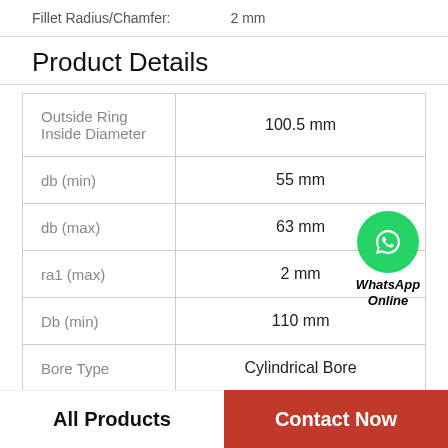Fillet Radius/Chamfer:    2 mm
Product Details
| Property | Value |
| --- | --- |
| Outside Ring Inside Diameter | 100.5 mm |
| db (min) | 55 mm |
| db (max) | 63 mm |
| ra1 (max) | 2 mm |
| Db (min) | 110 mm |
| Bore Type | Cylindrical Bore |
[Figure (logo): WhatsApp Online green circle icon with phone symbol and text 'WhatsApp Online']
All Products
Contact Now